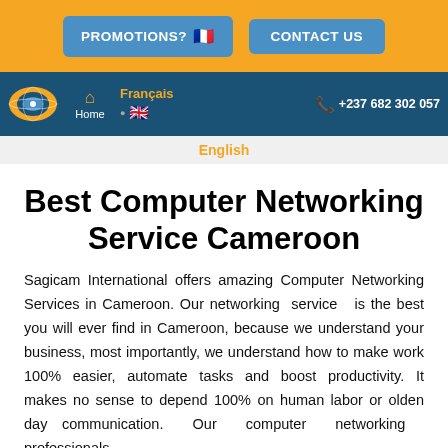PROMOTIONS?  CONTACT US
Home  Français  English  +237 682 302 057
English
Best Computer Networking Service Cameroon
Sagicam International offers amazing Computer Networking Services in Cameroon. Our networking service is the best you will ever find in Cameroon, because we understand your business, most importantly, we understand how to make work 100% easier, automate tasks and boost productivity. It makes no sense to depend 100% on human labor or olden day communication. Our computer networking professionals